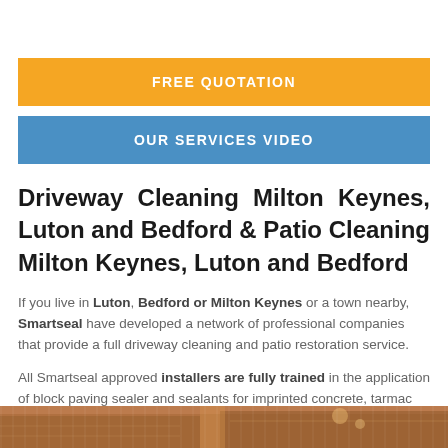FREE QUOTATION
OUR SERVICES VIDEO
Driveway Cleaning Milton Keynes, Luton and Bedford & Patio Cleaning Milton Keynes, Luton and Bedford
If you live in Luton, Bedford or Milton Keynes or a town nearby, Smartseal have developed a network of professional companies that provide a full driveway cleaning and patio restoration service.
All Smartseal approved installers are fully trained in the application of block paving sealer and sealants for imprinted concrete, tarmac and other external hard surfaces.
[Figure (photo): Bottom strip showing a driveway or patio surface, brownish tone, partially visible at the bottom of the page]